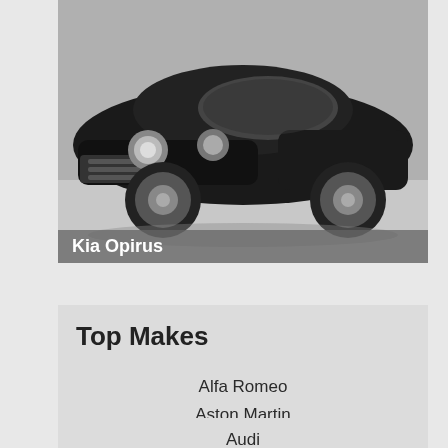[Figure (photo): Black Kia Opirus sedan photographed from front-left angle in grayscale, with caption 'Kia Opirus' overlaid on lower portion]
Kia Opirus
Top Makes
Alfa Romeo
Aston Martin
Audi
BMW
Bugatti
Chevrolet